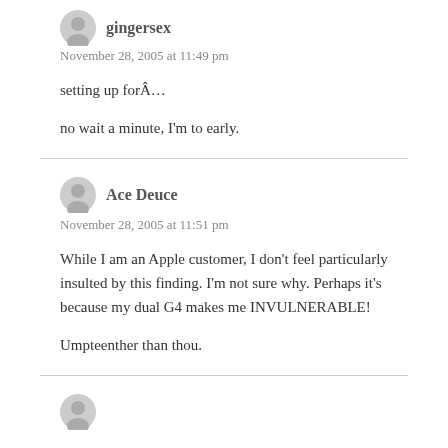gingersex
November 28, 2005 at 11:49 pm
setting up forÂ…
no wait a minute, I'm to early.
Ace Deuce
November 28, 2005 at 11:51 pm
While I am an Apple customer, I don't feel particularly insulted by this finding. I'm not sure why. Perhaps it's because my dual G4 makes me INVULNERABLE!
Umpteenther than thou.